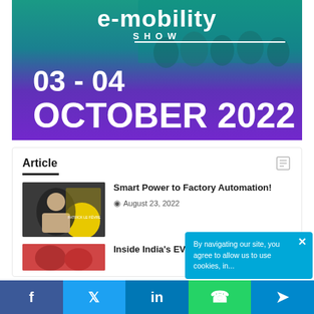[Figure (photo): e-mobility Show banner with teal/purple gradient background, crowd silhouettes, logo text 'e-mobility SHOW', and date '03 - 04 OCTOBER 2022']
Article
Smart Power to Factory Automation!
August 23, 2022
Inside India's EV Charging S...
By navigating our site, you agree to allow us to use cookies, in...